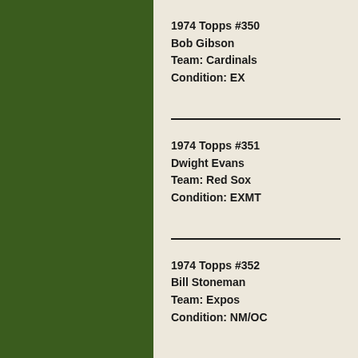[Figure (illustration): Dark forest green vertical panel on the left side of the page]
1974 Topps #350
Bob Gibson
Team: Cardinals
Condition: EX
1974 Topps #351
Dwight Evans
Team: Red Sox
Condition: EXMT
1974 Topps #352
Bill Stoneman
Team: Expos
Condition: NM/OC